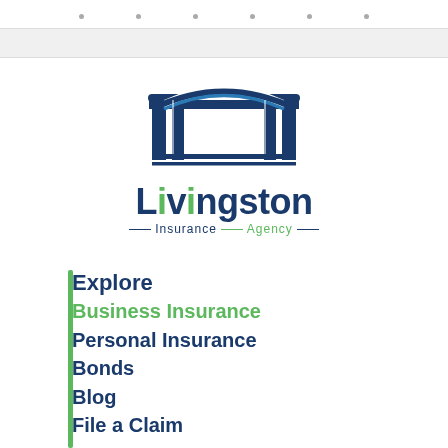[Figure (logo): Livingston Insurance Agency logo: blue bridge arch illustration above the text 'Livingston' in dark blue bold font, with 'Insurance Agency' in smaller text below, 'Insurance' in dark blue and 'Agency' in green, flanked by horizontal lines.]
Explore
Business Insurance
Personal Insurance
Bonds
Blog
File a Claim